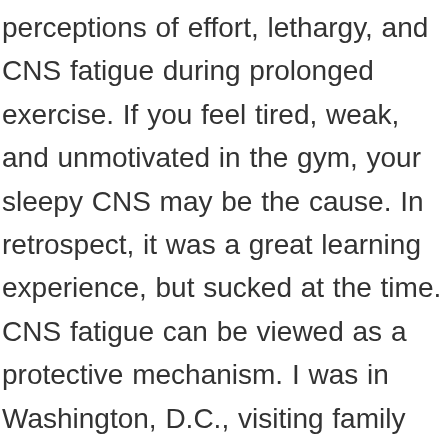perceptions of effort, lethargy, and CNS fatigue during prolonged exercise. If you feel tired, weak, and unmotivated in the gym, your sleepy CNS may be the cause. In retrospect, it was a great learning experience, but sucked at the time. CNS fatigue can be viewed as a protective mechanism. I was in Washington, D.C., visiting family and tested negative before travelling from my home in Arizona. What's the effect of a big drop in seretonin on fatigue? Most of the internet ideas are just posturing and pendantic arguing. Usually after 8-10 weeks of solid heavy lifting my progress starts to slow down. Like, what is it, how does it feel, how does it affect your lifts, how long does it last, what causes it, and contrast that with the normal DOMS and typical muscle recovery time. If you are making progress keep deadlifting as much as you want, if you don't